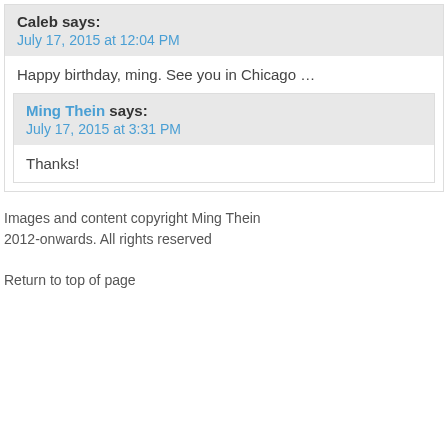Caleb says:
July 17, 2015 at 12:04 PM
Happy birthday, ming. See you in Chicago …
Ming Thein says:
July 17, 2015 at 3:31 PM
Thanks!
Images and content copyright Ming Thein 2012-onwards. All rights reserved
Return to top of page